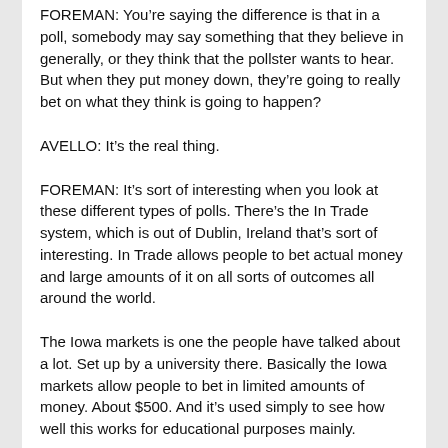FOREMAN: You're saying the difference is that in a poll, somebody may say something that they believe in generally, or they think that the pollster wants to hear. But when they put money down, they're going to really bet on what they think is going to happen?
AVELLO: It's the real thing.
FOREMAN: It's sort of interesting when you look at these different types of polls. There's the In Trade system, which is out of Dublin, Ireland that's sort of interesting. In Trade allows people to bet actual money and large amounts of it on all sorts of outcomes all around the world.
The Iowa markets is one the people have talked about a lot. Set up by a university there. Basically the Iowa markets allow people to bet in limited amounts of money. About $500. And it's used simply to see how well this works for educational purposes mainly.
Professor, when we talk about these, though, why did